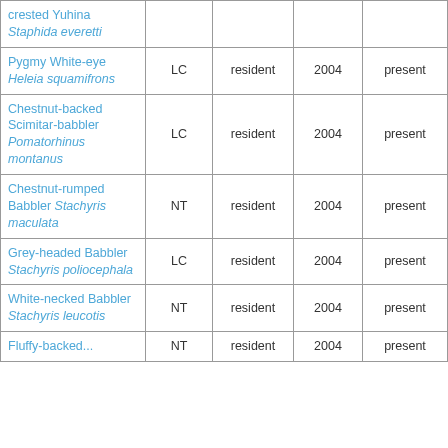| crested Yuhina Staphida everetti |  |  |  |  |  |
| Pygmy White-eye Heleia squamifrons | LC | resident | 2004 | present | A2, A3 |
| Chestnut-backed Scimitar-babbler Pomatorhinus montanus | LC | resident | 2004 | present | A3 |
| Chestnut-rumped Babbler Stachyris maculata | NT | resident | 2004 | present | A3 |
| Grey-headed Babbler Stachyris poliocephala | LC | resident | 2004 | present | A3 |
| White-necked Babbler Stachyris leucotis | NT | resident | 2004 | present | A3 |
| Fluffy-backed... | NT | resident | 2004 | present | A3 |